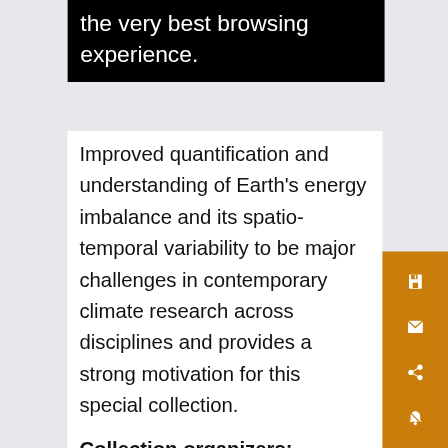the very best browsing experience.
Improved quantification and understanding of Earth's energy imbalance and its spatio-temporal variability to be major challenges in contemporary climate research across disciplines and provides a strong motivation for this special collection.
Collection organizers:
Maria Hakuba, Jet Propulsion